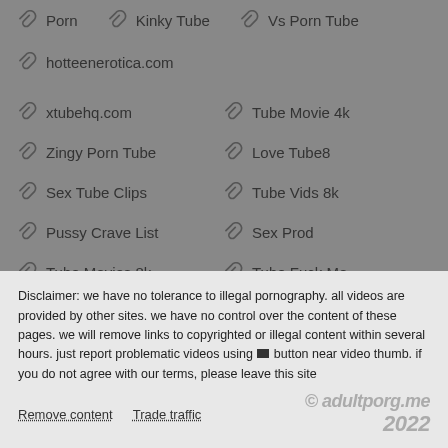Porn
Kinky Tube
Vs Porn Tube
hotteenerotica.com
xtubehq.com
Tube Movie 4k
Zingy Porn Tube
Love Tube8
Sex Tube Clips
Tube Vids 8k
Pussy Crave List
Sex Prod
Tube Movies 8k
Tube Fuck Me
Disclaimer: we have no tolerance to illegal pornography. all videos are provided by other sites. we have no control over the content of these pages. we will remove links to copyrighted or illegal content within several hours. just report problematic videos using [flag] button near video thumb. if you do not agree with our terms, please leave this site
Remove content   Trade traffic   © adultporg.me 2022